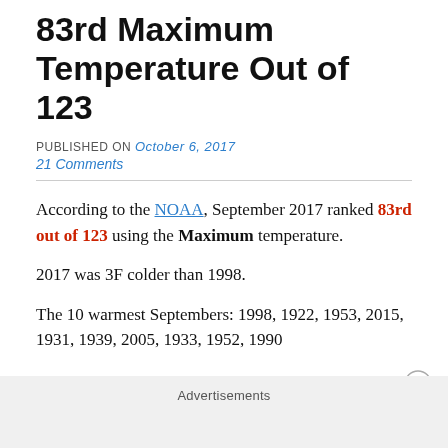83rd Maximum Temperature Out of 123
PUBLISHED ON October 6, 2017
21 Comments
According to the NOAA, September 2017 ranked 83rd out of 123 using the Maximum temperature.
2017 was 3F colder than 1998.
The 10 warmest Septembers: 1998, 1922, 1953, 2015, 1931, 1939, 2005, 1933, 1952, 1990
Advertisements